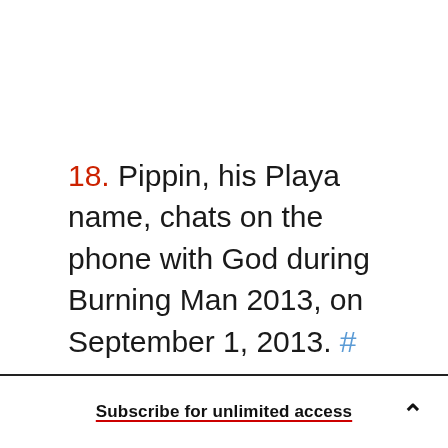18. Pippin, his Playa name, chats on the phone with God during Burning Man 2013, on September 1, 2013. #
Reuters/Jim Urquhart
Subscribe for unlimited access